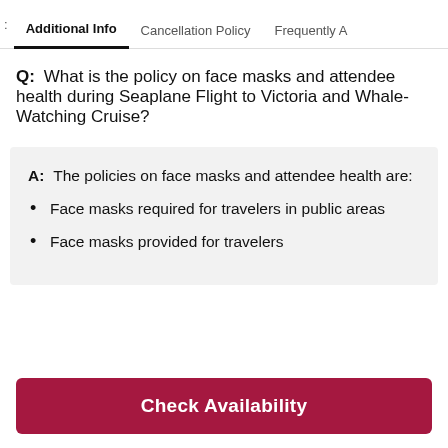Additional Info | Cancellation Policy | Frequently A
Q: What is the policy on face masks and attendee health during Seaplane Flight to Victoria and Whale-Watching Cruise?
A: The policies on face masks and attendee health are:
Face masks required for travelers in public areas
Face masks provided for travelers
Check Availability